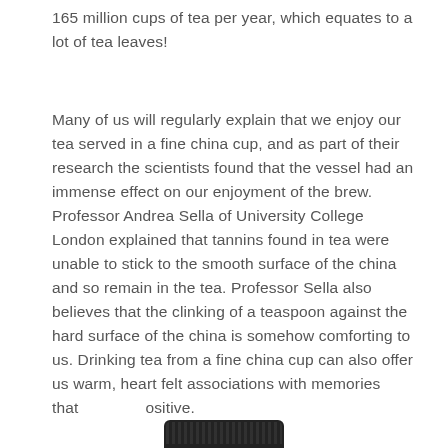165 million cups of tea per year, which equates to a lot of tea leaves!
Many of us will regularly explain that we enjoy our tea served in a fine china cup, and as part of their research the scientists found that the vessel had an immense effect on our enjoyment of the brew. Professor Andrea Sella of University College London explained that tannins found in tea were unable to stick to the smooth surface of the china and so remain in the tea. Professor Sella also believes that the clinking of a teaspoon against the hard surface of the china is somehow comforting to us. Drinking tea from a fine china cup can also offer us warm, heart felt associations with memories that [obscured] ositive.